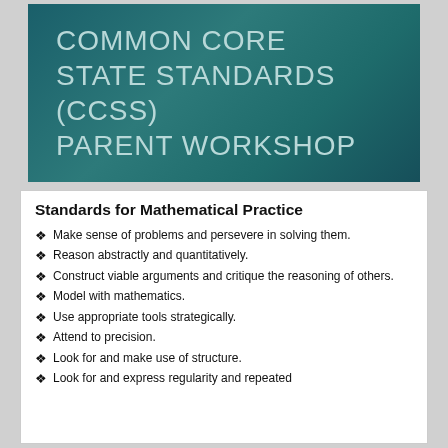[Figure (other): Teal/dark green gradient banner with text: COMMON CORE STATE STANDARDS (CCSS) PARENT WORKSHOP in light grey uppercase letters]
Standards for Mathematical Practice
Make sense of problems and persevere in solving them.
Reason abstractly and quantitatively.
Construct viable arguments and critique the reasoning of others.
Model with mathematics.
Use appropriate tools strategically.
Attend to precision.
Look for and make use of structure.
Look for and express regularity and repeated